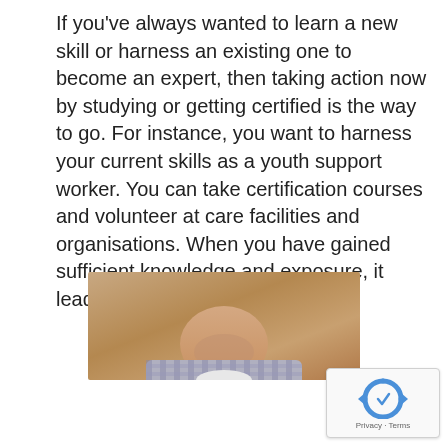If you've always wanted to learn a new skill or harness an existing one to become an expert, then taking action now by studying or getting certified is the way to go. For instance, you want to harness your current skills as a youth support worker. You can take certification courses and volunteer at care facilities and organisations. When you have gained sufficient knowledge and exposure, it leads us to the next reason.
[Figure (photo): Cropped photo of a man from chin to chest, wearing a plaid/checked shirt, photographed against a warm brown/tan background.]
[Figure (logo): reCAPTCHA widget showing the reCAPTCHA icon (circular arrows logo in blue) with Privacy and Terms links below.]